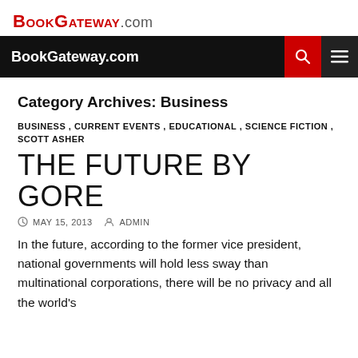BookGateway.com
BookGateway.com [nav bar with search and menu icons]
Category Archives: Business
BUSINESS , CURRENT EVENTS , EDUCATIONAL , SCIENCE FICTION , SCOTT ASHER
THE FUTURE BY GORE
MAY 15, 2013   ADMIN
In the future, according to the former vice president, national governments will hold less sway than multinational corporations, there will be no privacy and all the world's